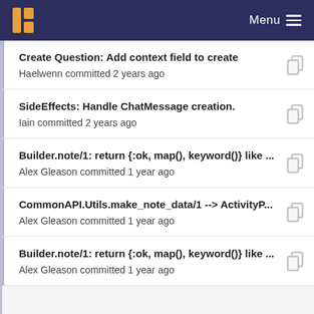Menu
Create Question: Add context field to create
Haelwenn committed 2 years ago
SideEffects: Handle ChatMessage creation.
Iain committed 2 years ago
Builder.note/1: return {:ok, map(), keyword()} like ...
Alex Gleason committed 1 year ago
CommonAPI.Utils.make_note_data/1 --> ActivityP...
Alex Gleason committed 1 year ago
Builder.note/1: return {:ok, map(), keyword()} like ...
Alex Gleason committed 1 year ago